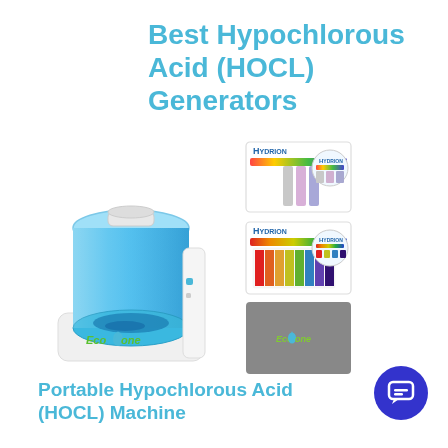Best Hypochlorous Acid (HOCL) Generators
[Figure (photo): Product photo of an EcoOne portable hypochlorous acid (HOCL) generator machine with a blue transparent water tank, white body, and EcoOne logo. To the right are two Hydrion pH test strip kits and a gray EcoOne branded card/booklet.]
Portable Hypochlorous Acid (HOCL) Machine